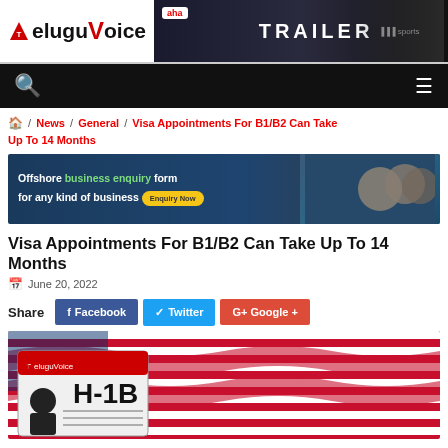TeluguVoice
[Figure (screenshot): TeluguVoice website header with logo and advertisement banner for 'TRAILER']
[Figure (screenshot): Black navigation bar with search icon and hamburger menu]
🏠 / News / General / Visa Appointments For B1/B2 Can Take Up To 14 Months
[Figure (photo): Advertisement banner: Offshore business enquiry form for any kind of business, with Enquiry Now button, showing people in business meeting]
Visa Appointments For B1/B2 Can Take Up To 14 Months
June 20, 2022
Share  Facebook  Twitter  Google +
[Figure (photo): H-1B visa card in foreground with American flag waving in background. TeluguVoice watermark visible.]